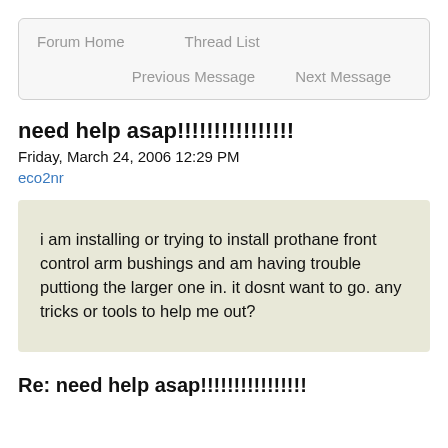Forum Home   Thread List   Previous Message   Next Message
need help asap!!!!!!!!!!!!!!!!
Friday, March 24, 2006 12:29 PM
eco2nr
i am installing or trying to install prothane front control arm bushings and am having trouble puttiong the larger one in. it dosnt want to go. any tricks or tools to help me out?
Re: need help asap!!!!!!!!!!!!!!!!